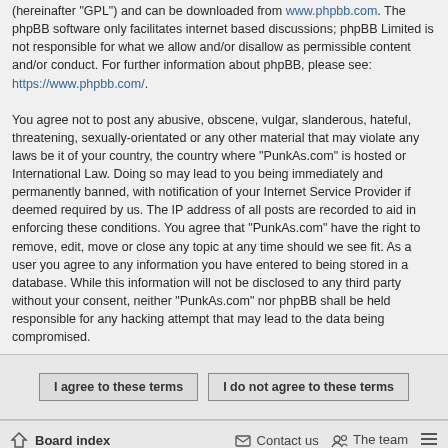(hereinafter "GPL") and can be downloaded from www.phpbb.com. The phpBB software only facilitates internet based discussions; phpBB Limited is not responsible for what we allow and/or disallow as permissible content and/or conduct. For further information about phpBB, please see: https://www.phpbb.com/.
You agree not to post any abusive, obscene, vulgar, slanderous, hateful, threatening, sexually-orientated or any other material that may violate any laws be it of your country, the country where “PunkAs.com” is hosted or International Law. Doing so may lead to you being immediately and permanently banned, with notification of your Internet Service Provider if deemed required by us. The IP address of all posts are recorded to aid in enforcing these conditions. You agree that “PunkAs.com” have the right to remove, edit, move or close any topic at any time should we see fit. As a user you agree to any information you have entered to being stored in a database. While this information will not be disclosed to any third party without your consent, neither “PunkAs.com” nor phpBB shall be held responsible for any hacking attempt that may lead to the data being compromised.
I agree to these terms | I do not agree to these terms
Board index | Contact us | The team
Powered by phpBB® Forum Software © phpBB Limited Color scheme created with Colorize It. SE Square Left by PhpBB3 BBCodes